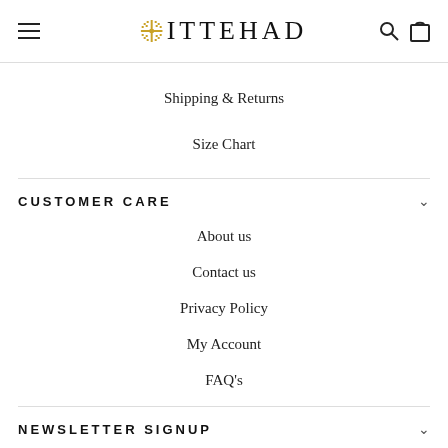ITTEHAD
Shipping & Returns
Size Chart
CUSTOMER CARE
About us
Contact us
Privacy Policy
My Account
FAQ's
NEWSLETTER SIGNUP